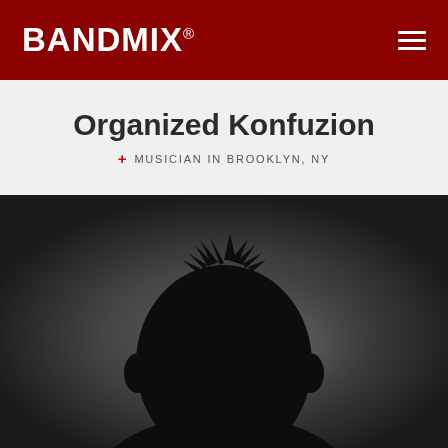BANDMIX®
Organized Konfuzion
+ MUSICIAN IN BROOKLYN, NY
[Figure (photo): Silhouette of a person's head and shoulders against a dark gray gradient background, no facial features visible.]